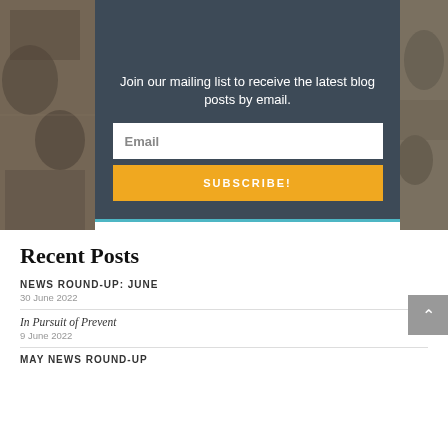[Figure (photo): Background photo collage of students, visible on left and right edges behind the subscribe box]
Join our mailing list to receive the latest blog posts by email.
Email
SUBSCRIBE!
Recent Posts
NEWS ROUND-UP: JUNE
30 June 2022
In Pursuit of Prevent
9 June 2022
MAY NEWS ROUND-UP